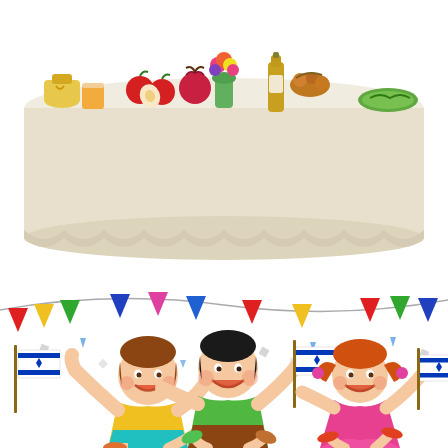[Figure (illustration): Clip art illustration showing two scenes: (top) a festive table with a white/cream tablecloth decorated with Rosh Hashanah foods including honey, apples, pomegranates, flowers, wine bottle, and fruit; (bottom) three cartoon children celebrating holding Israeli flags, with colorful bunting triangles and confetti above them. Left child wears yellow shirt and teal shorts, middle child wears green shirt and brown pants, right child wears pink dress. All three are smiling and jumping.]